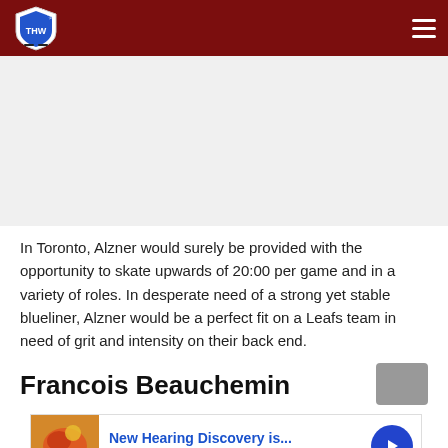THW - The Hockey Writers
In Toronto, Alzner would surely be provided with the opportunity to skate upwards of 20:00 per game and in a variety of roles. In desperate need of a strong yet stable blueliner, Alzner would be a perfect fit on a Leafs team in need of grit and intensity on their back end.
Francois Beauchemin
[Figure (screenshot): Advertisement banner: New Hearing Discovery is... n/a, with a play button]